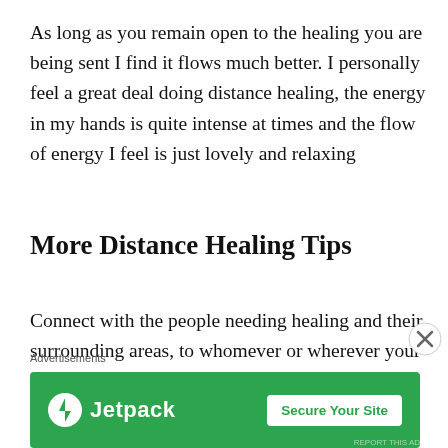As long as you remain open to the healing you are being sent I find it flows much better. I personally feel a great deal doing distance healing, the energy in my hands is quite intense at times and the flow of energy I feel is just lovely and relaxing
More Distance Healing Tips
Connect with the people needing healing and their surrounding areas, to whomever or wherever your awareness is attracted
Advertisements
[Figure (infographic): Jetpack advertisement banner: green background with Jetpack logo (white lightning bolt icon) and text 'Jetpack' on the left, and a white button 'Secure Your Site' on the right]